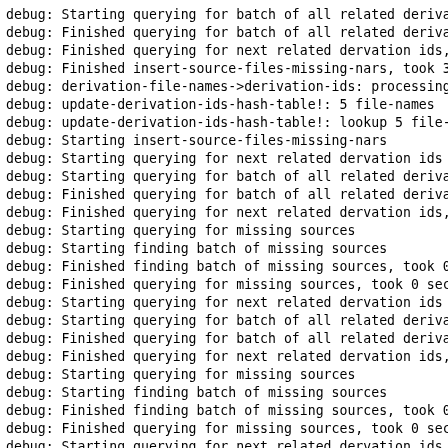debug: Starting querying for batch of all related deriva
debug: Finished querying for batch of all related deriva
debug: Finished querying for next related dervation ids,
debug: Finished insert-source-files-missing-nars, took 3
debug: derivation-file-names->derivation-ids: processing
debug: update-derivation-ids-hash-table!: 5 file-names
debug: update-derivation-ids-hash-table!: lookup 5 file-
debug: Starting insert-source-files-missing-nars
debug: Starting querying for next related dervation ids
debug: Starting querying for batch of all related deriva
debug: Finished querying for batch of all related deriva
debug: Finished querying for next related dervation ids,
debug: Starting querying for missing sources
debug: Starting finding batch of missing sources
debug: Finished finding batch of missing sources, took 0
debug: Finished querying for missing sources, took 0 sec
debug: Starting querying for next related dervation ids
debug: Starting querying for batch of all related deriva
debug: Finished querying for batch of all related deriva
debug: Finished querying for next related dervation ids,
debug: Starting querying for missing sources
debug: Starting finding batch of missing sources
debug: Finished finding batch of missing sources, took 0
debug: Finished querying for missing sources, took 0 sec
debug: Starting querying for next related dervat...